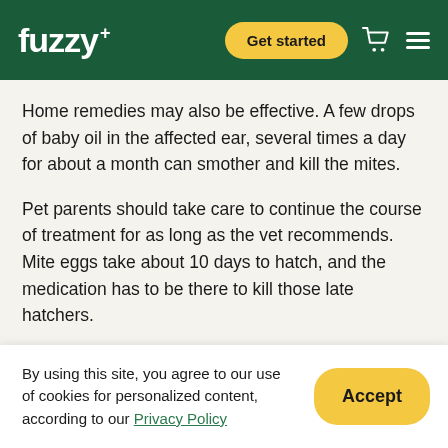fuzzy+ | Get started
Home remedies may also be effective. A few drops of baby oil in the affected ear, several times a day for about a month can smother and kill the mites.
Pet parents should take care to continue the course of treatment for as long as the vet recommends. Mite eggs take about 10 days to hatch, and the medication has to be there to kill those late hatchers.
For more personalized recommendations and guidance about cat ear mites, become a Fuzzy member today to
By using this site, you agree to our use of cookies for personalized content, according to our Privacy Policy